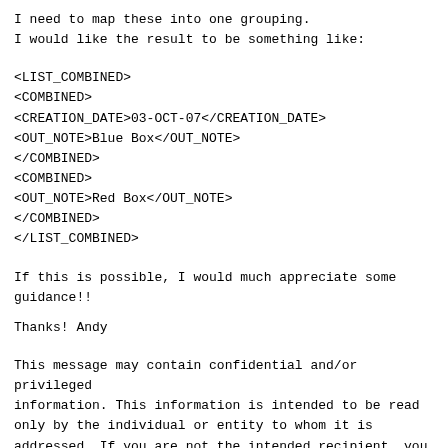I need to map these into one grouping.
I would like the result to be something like:
<LIST_COMBINED>
<COMBINED>
<CREATION_DATE>03-OCT-07</CREATION_DATE>
<OUT_NOTE>Blue Box</OUT_NOTE>
</COMBINED>
<COMBINED>
<OUT_NOTE>Red Box</OUT_NOTE>
</COMBINED>
</LIST_COMBINED>
If this is possible, I would much appreciate some guidance!!
Thanks! Andy
This message may contain confidential and/or privileged information. This information is intended to be read only by the individual or entity to whom it is addressed. If you are not the intended recipient, you are on notice that any review, disclosure, copying, distribution or use of the contents of this message is strictly prohibited. If you have received this message in error, please notify the sender immediately and